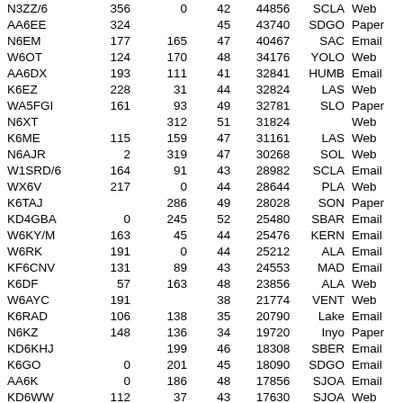| N3ZZ/6 | 356 | 0 | 42 | 44856 | SCLA | Web |
| AA6EE | 324 |  | 45 | 43740 | SDGO | Paper |
| N6EM | 177 | 165 | 47 | 40467 | SAC | Email |
| W6OT | 124 | 170 | 48 | 34176 | YOLO | Web |
| AA6DX | 193 | 111 | 41 | 32841 | HUMB | Email |
| K6EZ | 228 | 31 | 44 | 32824 | LAS | Web |
| WA5FGI | 161 | 93 | 49 | 32781 | SLO | Paper |
| N6XT |  | 312 | 51 | 31824 |  | Web |
| K6ME | 115 | 159 | 47 | 31161 | LAS | Web |
| N6AJR | 2 | 319 | 47 | 30268 | SOL | Web |
| W1SRD/6 | 164 | 91 | 43 | 28982 | SCLA | Email |
| WX6V | 217 | 0 | 44 | 28644 | PLA | Web |
| K6TAJ |  | 286 | 49 | 28028 | SON | Paper |
| KD4GBA | 0 | 245 | 52 | 25480 | SBAR | Email |
| W6KY/M | 163 | 45 | 44 | 25476 | KERN | Email |
| W6RK | 191 | 0 | 44 | 25212 | ALA | Email |
| KF6CNV | 131 | 89 | 43 | 24553 | MAD | Email |
| K6DF | 57 | 163 | 48 | 23856 | ALA | Web |
| W6AYC | 191 |  | 38 | 21774 | VENT | Web |
| K6RAD | 106 | 138 | 35 | 20790 | Lake | Email |
| N6KZ | 148 | 136 | 34 | 19720 | Inyo | Paper |
| KD6KHJ |  | 199 | 46 | 18308 | SBER | Email |
| K6GO | 0 | 201 | 45 | 18090 | SDGO | Email |
| AA6K | 0 | 186 | 48 | 17856 | SJOA | Email |
| KD6WW | 112 | 37 | 43 | 17630 | SJOA | Web |
| K6EU | 67 | 161 | 33 | 17259 | SCLA | Email |
| N6N... | 148 |  | 37 | 15760 | SDGO | Email |